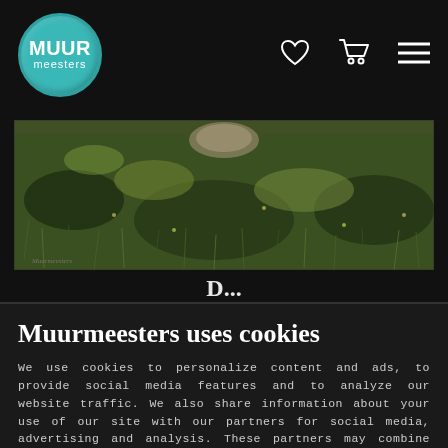[Figure (logo): Muurmeesters teal wax-seal style circular logo with white MUUR meesters text]
[Figure (photo): Landscape painting of green grassy field with subtle light textures, oil painting style]
Muurmeesters uses cookies
We use cookies to personalize content and ads, to provide social media features and to analyze our website traffic. We also share information about your use of our site with our partners for social media, advertising and analysis. These partners may combine this data with other information that you have provided to them or that they have collected from your use of their services